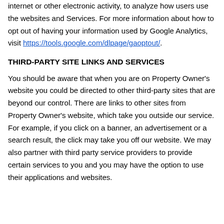internet or other electronic activity, to analyze how users use the websites and Services. For more information about how to opt out of having your information used by Google Analytics, visit https://tools.google.com/dlpage/gaoptout/.
THIRD-PARTY SITE LINKS AND SERVICES
You should be aware that when you are on Property Owner's website you could be directed to other third-party sites that are beyond our control. There are links to other sites from Property Owner's website, which take you outside our service. For example, if you click on a banner, an advertisement or a search result, the click may take you off our website. We may also partner with third party service providers to provide certain services to you and you may have the option to use their applications and websites.